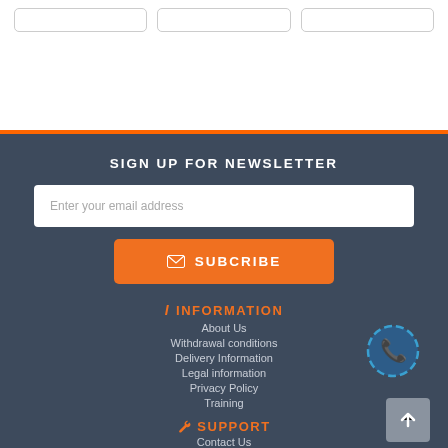[Figure (screenshot): Three card stub outlines at the top of the page on white background]
SIGN UP FOR NEWSLETTER
Enter your email address
SUBCRIBE
INFORMATION
About Us
Withdrawal conditions
Delivery Information
Legal information
Privacy Policy
Training
SUPPORT
Contact Us
[Figure (illustration): Blue phone icon in circular rotating arrows border]
[Figure (illustration): Grey back-to-top button with upward arrow]